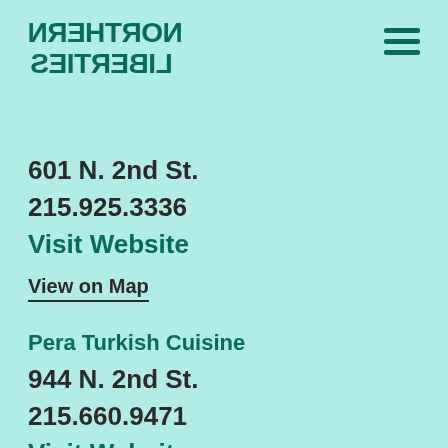NORTHERN LIBERTIES
601 N. 2nd St.
215.925.3336
Visit Website
View on Map
Pera Turkish Cuisine
944 N. 2nd St.
215.660.9471
Visit Website
View on Map